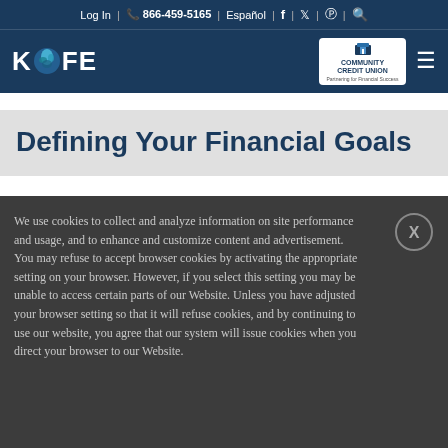Log In | 866-459-5165 | Español | f | Twitter | Pinterest | Search
[Figure (logo): KOFE logo with stylized bird icon on dark navy background, Community Credit Union badge, and hamburger menu icon]
Defining Your Financial Goals
We use cookies to collect and analyze information on site performance and usage, and to enhance and customize content and advertisement. You may refuse to accept browser cookies by activating the appropriate setting on your browser. However, if you select this setting you may be unable to access certain parts of our Website. Unless you have adjusted your browser setting so that it will refuse cookies, and by continuing to use our website, you agree that our system will issue cookies when you direct your browser to our Website.